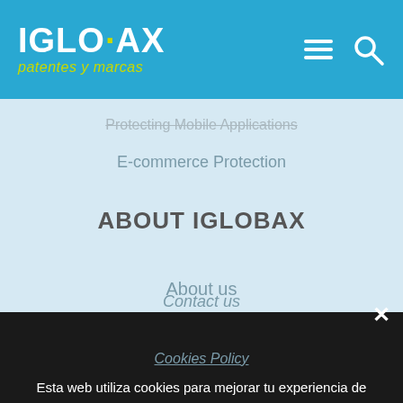[Figure (logo): IGLOBAX patentes y marcas logo in white and lime green on blue background]
Protecting Mobile Applications
E-commerce Protection
ABOUT IGLOBAX
About us
Contact us
Esta web utiliza cookies para mejorar tu experiencia de navegación. Puedes consultarlas revisando las preferencias de privacidad.
Necesarias
Analíticas
Cookies Policy
Privacy Preferences
I Agree